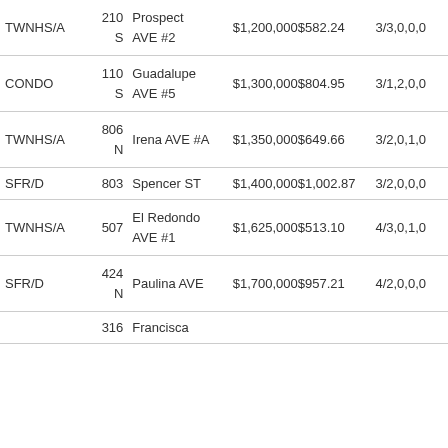| Type | Num | Address | Price/SqFt | Beds/Baths |
| --- | --- | --- | --- | --- |
| TWNHS/A | 210 S | Prospect AVE #2 | $1,200,000$582.24 | 3/3,0,0,0 |
| CONDO | 110 S | Guadalupe AVE #5 | $1,300,000$804.95 | 3/1,2,0,0 |
| TWNHS/A | 806 N | Irena AVE #A | $1,350,000$649.66 | 3/2,0,1,0 |
| SFR/D | 803 | Spencer ST | $1,400,000$1,002.87 | 3/2,0,0,0 |
| TWNHS/A | 507 | El Redondo AVE #1 | $1,625,000$513.10 | 4/3,0,1,0 |
| SFR/D | 424 N | Paulina AVE | $1,700,000$957.21 | 4/2,0,0,0 |
|  | 316 | Francisca |  |  |